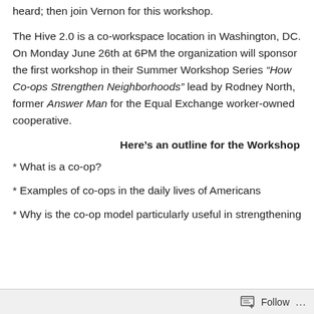heard; then join Vernon for this workshop.
The Hive 2.0 is a co-workspace location in Washington, DC. On Monday June 26th at 6PM the organization will sponsor the first workshop in their Summer Workshop Series “How Co-ops Strengthen Neighborhoods” lead by Rodney North, former Answer Man for the Equal Exchange worker-owned cooperative.
Here’s an outline for the Workshop
* What is a co-op?
* Examples of co-ops in the daily lives of Americans
* Why is the co-op model particularly useful in strengthening
Follow ...